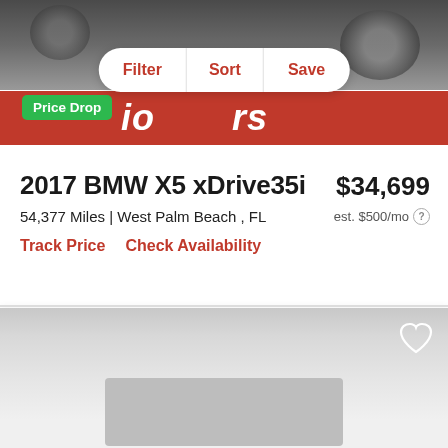[Figure (photo): Car dealership photo at top with red banner reading partial text, showing vehicle wheels and dealer branding in red and gray tones]
Price Drop
Filter   Sort   Save
2017 BMW X5 xDrive35i
$34,699
54,377 Miles | West Palm Beach , FL
est. $500/mo ?
Track Price   Check Availability
[Figure (photo): Second vehicle listing gray placeholder area with heart/save icon and a gray image placeholder rectangle]